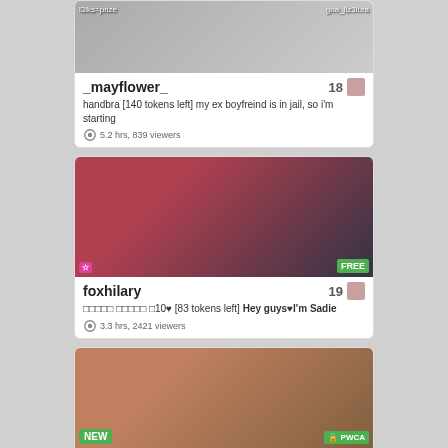[Figure (screenshot): Webcam thumbnail for _mayflower_]
_mayflower_  18
handbra [140 tokens left] my ex boyfreind is in jail, so i'm starting
5.2 hrs, 839 viewers
[Figure (screenshot): Webcam thumbnail for foxhilary]
foxhilary  19
□□□□□ □□□□□ □10♥ [83 tokens left] Hey guys♥I'm Sadie
3.3 hrs, 2421 viewers
[Figure (screenshot): Webcam thumbnail for maldleevans, NEW badge]
maldleevans  18
♥naked dance♥ i'm new here [
#shy #new #teen #18 #feet [0